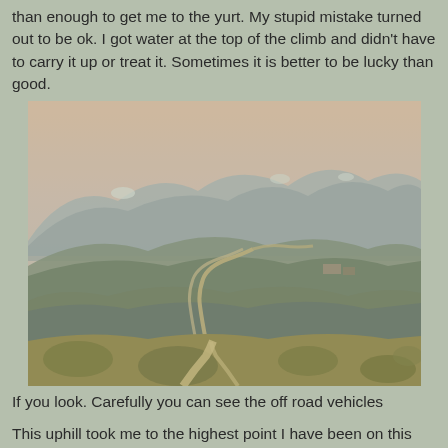than enough to get me to the yurt. My stupid mistake turned out to be ok. I got water at the top of the climb and didn't have to carry it up or treat it. Sometimes it is better to be lucky than good.
[Figure (photo): Mountain landscape photo showing a winding dirt trail across open alpine terrain, with rolling green hills and mountains in the background partially obscured by hazy smoke.]
If you look. Carefully you can see the off road vehicles
This uphill took me to the highest point I have been on this trail to date 13,271 feet. Unfortunately, I couldn't see a thing. I was totally engulfed by the smoke. I tried to get cell phone